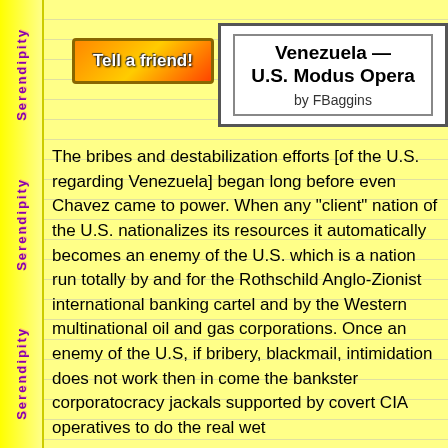[Figure (other): Tell a friend! button with orange-red gradient background and bold white text]
Venezuela — U.S. Modus Opera
by FBaggins
The bribes and destabilization efforts [of the U.S. regarding Venezuela] began long before even Chavez came to power. When any "client" nation of the U.S. nationalizes its resources it automatically becomes an enemy of the U.S. which is a nation run totally by and for the Rothschild Anglo-Zionist international banking cartel and by the Western multinational oil and gas corporations. Once an enemy of the U.S, if bribery, blackmail, intimidation does not work then in come the bankster corporatocracy jackals supported by covert CIA operatives to do the real wet